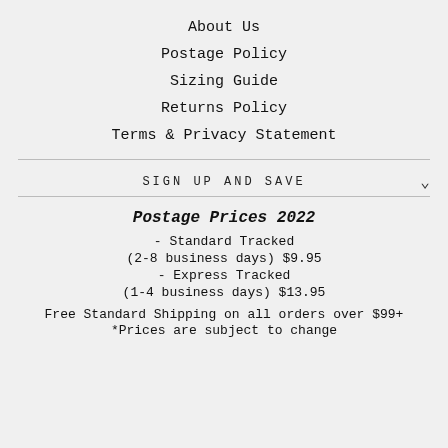About Us
Postage Policy
Sizing Guide
Returns Policy
Terms & Privacy Statement
SIGN UP AND SAVE
Postage Prices 2022
- Standard Tracked
(2-8 business days) $9.95
- Express Tracked
(1-4 business days) $13.95
Free Standard Shipping on all orders over $99+
*Prices are subject to change